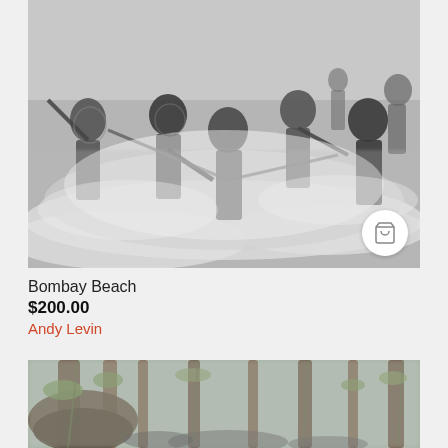[Figure (photo): Black and white photograph of people fishing or hauling nets in ocean waves, dynamic motion blur]
Bombay Beach
$200.00
Andy Levin
[Figure (photo): Color photograph of a misty forest with large mossy trees and hanging vines]